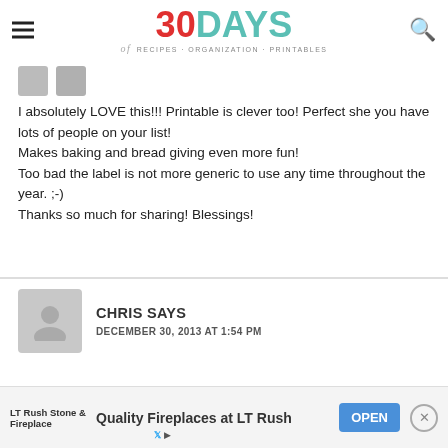30 DAYS of RECIPES · ORGANIZATION · PRINTABLES
I absolutely LOVE this!!! Printable is clever too! Perfect she you have lots of people on your list!
Makes baking and bread giving even more fun!
Too bad the label is not more generic to use any time throughout the year. ;-)
Thanks so much for sharing! Blessings!
CHRIS SAYS
DECEMBER 30, 2013 AT 1:54 PM
I love this idea. Have you ever done this with mini loaves?
LT Rush Stone & Fireplace — Quality Fireplaces at LT Rush — OPEN